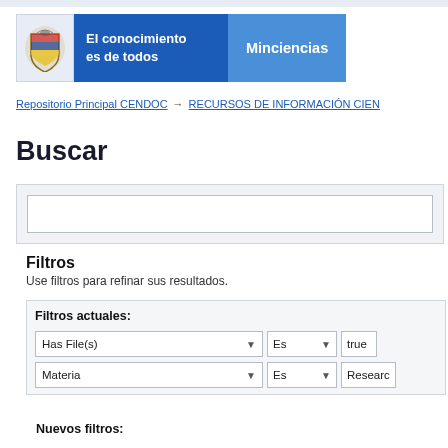[Figure (logo): Minciencias government logo with Colombian coat of arms, blue banner reading 'El conocimiento es de todos', and 'Minciencias' text on lighter blue background]
Repositorio Principal CENDOC → RECURSOS DE INFORMACIÓN CIEN
Buscar
Filtros
Use filtros para refinar sus resultados.
Filtros actuales:
Has File(s) | Es | true
Materia | Es | Researc
Nuevos filtros: